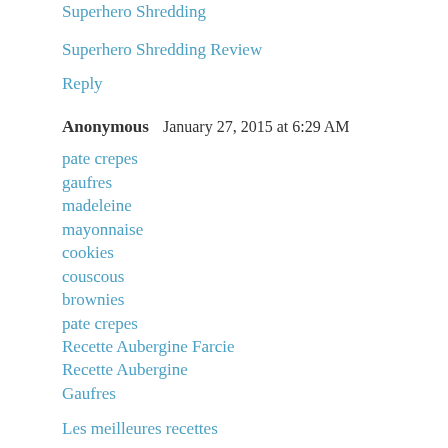Superhero Shredding
Superhero Shredding Review
Reply
Anonymous  January 27, 2015 at 6:29 AM
pate crepes
gaufres
madeleine
mayonnaise
cookies
couscous
brownies
pate crepes
Recette Aubergine Farcie
Recette Aubergine
Gaufres
Les meilleures recettes